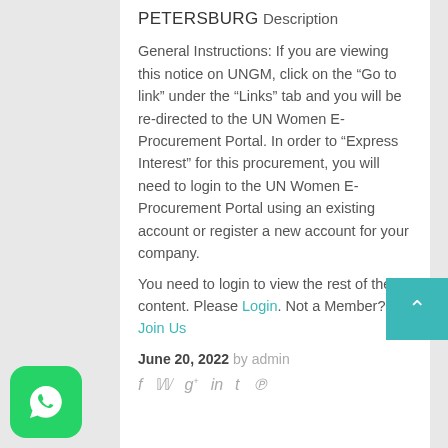PETERSBURG
Description
General Instructions: If you are viewing this notice on UNGM, click on the “Go to link” under the “Links” tab and you will be re-directed to the UN Women E-Procurement Portal. In order to “Express Interest” for this procurement, you will need to login to the UN Women E-Procurement Portal using an existing account or register a new account for your company.
You need to login to view the rest of the content. Please Login. Not a Member?
Join Us
June 20, 2022 by admin